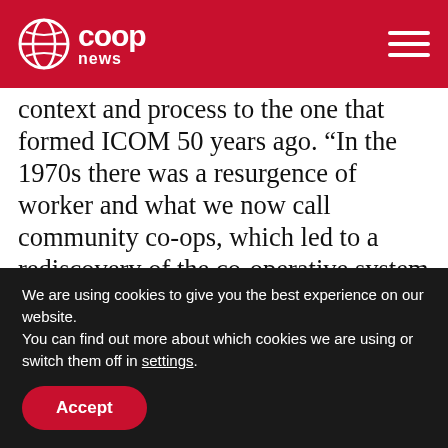co-op news
context and process to the one that formed ICOM 50 years ago. “In the 1970s there was a resurgence of worker and what we now call community co-ops, which led to a rediscovery of the co-operative system as something that could benefit workers. The social-democratic government of the time supported policy around common ownership, and there was funding from local and central government for co-ops. ICOM was founded to
We are using cookies to give you the best experience on our website.
You can find out more about which cookies we are using or switch them off in settings.
Accept